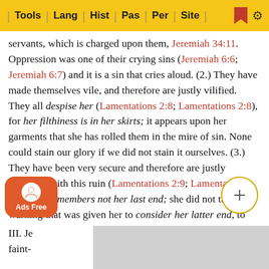Tools | Lang | Hist | Pas | Per | Site
servants, which is charged upon them, Jeremiah 34:11. Oppression was one of their crying sins (Jeremiah 6:6; Jeremiah 6:7) and it is a sin that cries aloud. (2.) They have made themselves vile, and therefore are justly vilified. They all despise her (Lamentations 2:8; Lamentations 2:8), for her filthiness is in her skirts; it appears upon her garments that she has rolled them in the mire of sin. None could stain our glory if we did not stain it ourselves. (3.) They have been very secure and therefore are justly surprised with this ruin (Lamentations 2:9; Lamentations 2:9): She remembers not her last end; she did not take the warning that was given her to consider her latter end, to consider what would be the end of such wicked courses as she took, and therefore she came down wonderfully, in an astonishing manner, that she made to feel what she would not fear; therefore God made their plagues wonderful.
III. Je... and faint-